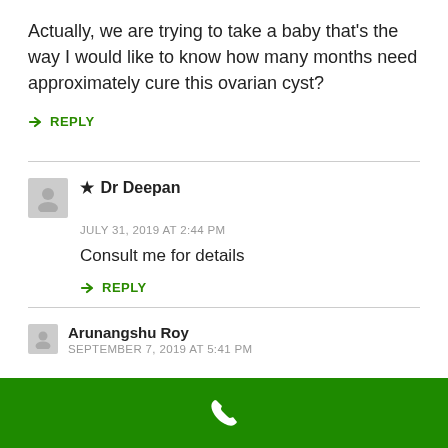Actually, we are trying to take a baby that's the way I would like to know how many months need approximately cure this ovarian cyst?
↪ REPLY
★ Dr Deepan
JULY 31, 2019 AT 2:44 PM
Consult me for details
↪ REPLY
Arunangshu Roy
SEPTEMBER 7, 2019 AT 5:41 PM